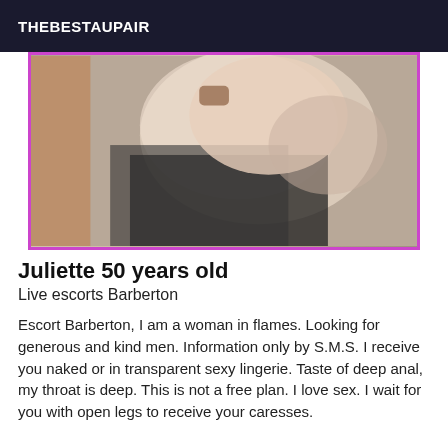THEBESTAUPAIR
[Figure (photo): Close-up photo of a person in black lace lingerie]
Juliette 50 years old
Live escorts Barberton
Escort Barberton, I am a woman in flames. Looking for generous and kind men. Information only by S.M.S. I receive you naked or in transparent sexy lingerie. Taste of deep anal, my throat is deep. This is not a free plan. I love sex. I wait for you with open legs to receive your caresses.